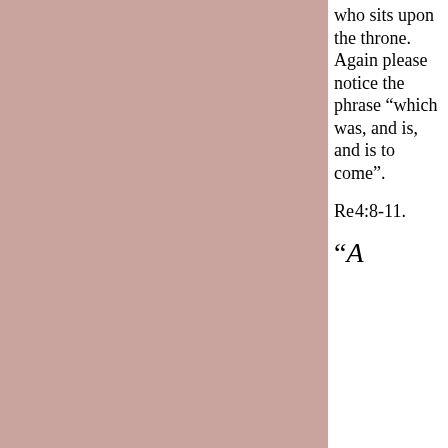[Figure (other): Large dusty rose / mauve colored rectangular block occupying the left portion of the page]
who sits upon the throne. Again please notice the phrase “which was, and is, and is to come”.
Re 4:8-11.
“A